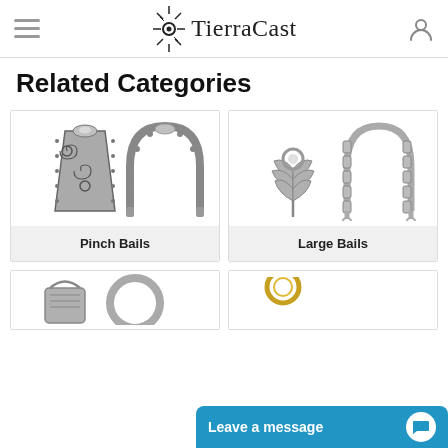TierraCast
Related Categories
[Figure (photo): Two ornate silver pinch bail jewelry findings — one decorative swirl pendant bail, one horseshoe-shaped bail]
Pinch Bails
[Figure (photo): Two silver large bail jewelry findings — one leaf-shaped bail, one U-shaped bail with links]
Large Bails
[Figure (photo): Two silver jewelry findings partially visible at bottom]
[Figure (photo): Gold ring finding partially visible at bottom right]
Leave a message